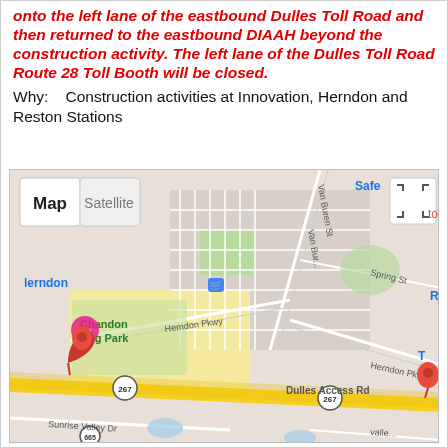onto the left lane of the eastbound Dulles Toll Road and then returned to the eastbound DIAAH beyond the construction activity. The left lane of the Dulles Toll Road Route 28 Toll Booth will be closed.
Why: Construction activities at Innovation, Herndon and Reston Stations
[Figure (map): Google Map screenshot showing Herndon/Reston area with Dulles Access Road (Route 267), Herndon Pkwy, Chandon Dog Park, Van Buren St, Spring St, Sunrise Valley Dr. Map/Satellite toggle buttons visible. Two red location pins shown. Street pegman icon visible. Zoom controls visible.]